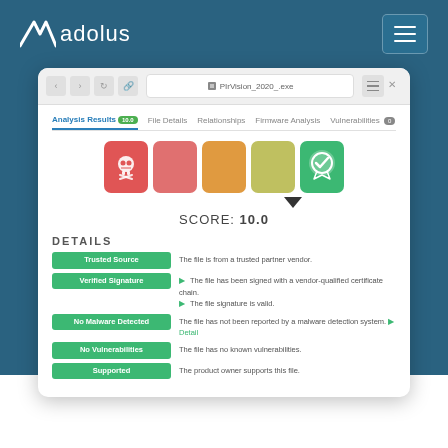[Figure (logo): Adolus logo with angular A symbol and 'adolus' text in white on teal background]
[Figure (screenshot): Browser window screenshot showing Adolus file analysis interface with score 10.0, tabs for Analysis Results, File Details, Relationships, Firmware Analysis, Vulnerabilities. Details section shows Trusted Source, Verified Signature, No Malware Detected, No Vulnerabilities, Supported - all green labels with descriptions.]